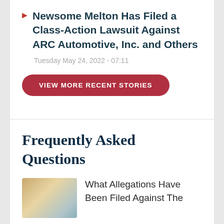Newsome Melton Has Filed a Class-Action Lawsuit Against ARC Automotive, Inc. and Others
Tuesday May 24, 2022 - 07:11
VIEW MORE RECENT STORIES
Frequently Asked Questions
What Allegations Have Been Filed Against The